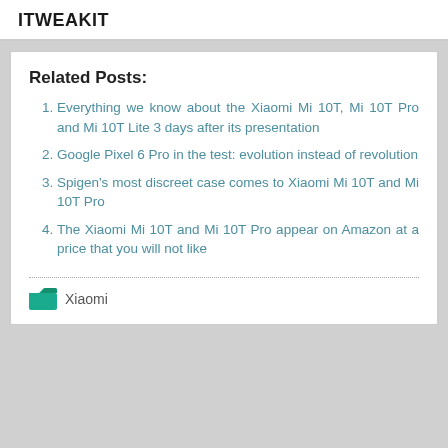ITWEAKIT
Related Posts:
Everything we know about the Xiaomi Mi 10T, Mi 10T Pro and Mi 10T Lite 3 days after its presentation
Google Pixel 6 Pro in the test: evolution instead of revolution
Spigen's most discreet case comes to Xiaomi Mi 10T and Mi 10T Pro
The Xiaomi Mi 10T and Mi 10T Pro appear on Amazon at a price that you will not like
Xiaomi